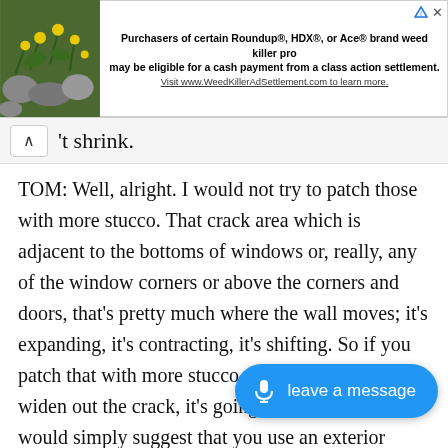[Figure (screenshot): Advertisement banner with plant/flower image on left and text about Roundup class action settlement on right]
't shrink.
TOM: Well, alright. I would not try to patch those with more stucco. That crack area which is adjacent to the bottoms of windows or, really, any of the window corners or above the corners and doors, that's pretty much where the wall moves; it's expanding, it's contracting, it's shifting. So if you patch that with more stucco material, even if you widen out the crack, it's going to crack again. I would simply suggest that you use an exterior grade latex caulk that's going not silicone but a latex caulk that's going to be